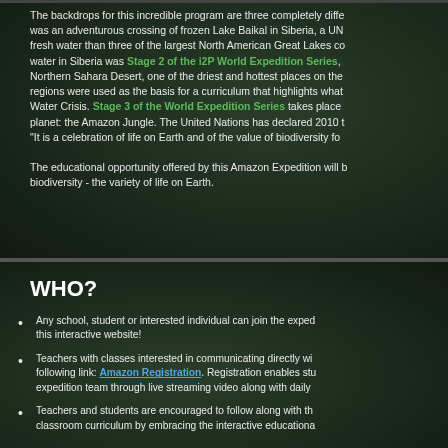The backdrops for this incredible program are three completely different regions...was an adventurous crossing of frozen Lake Baikal in Siberia, a UN...fresh water than three of the largest North American Great Lakes co...water in Siberia was Stage 2 of the i2P World Expedition Series,...Northern Sahara Desert, one of the driest and hottest places on the...regions were used as the basis for a curriculum that highlights what...Water Crisis. Stage 3 of the World Expedition Series takes place...planet: the Amazon Jungle. The United Nations has declared 2010 t..."It is a celebration of life on Earth and of the value of biodiversity fo...
The educational opportunity offered by this Amazon Expedition will b...biodiversity - the variety of life on Earth.
WHO?
Any school, student or interested individual can join the exped...this interactive website!
Teachers with classes interested in communicating directly wi...following link: Amazon Registration. Registration enables stu...expedition team through live streaming video along with daily...
Teachers and students are encouraged to follow along with th...classroom curriculum by embracing the interactive educationa...